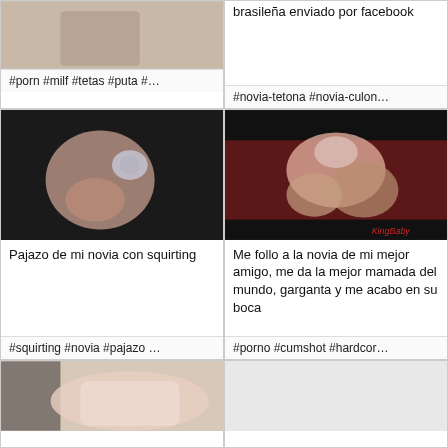[Figure (photo): Partial thumbnail image, cut off at top, showing skin tones]
brasile&ntilde;a enviado por facebook
#porn #milf #tetas #puta #…
#novia-tetona #novia-culon…
[Figure (photo): Dark background adult thumbnail showing hand and ring]
[Figure (photo): Dark background adult thumbnail with watermark KingBaby]
Pajazo de mi novia con squirting
Me follo a la novia de mi mejor amigo, me da la mejor mamada del mundo, garganta y me acabo en su boca
#squirting #novia #pajazo …
#porno #cumshot #hardcor…
[Figure (photo): Partial adult thumbnail at bottom left]
[Figure (photo): Empty/white partial card at bottom right]